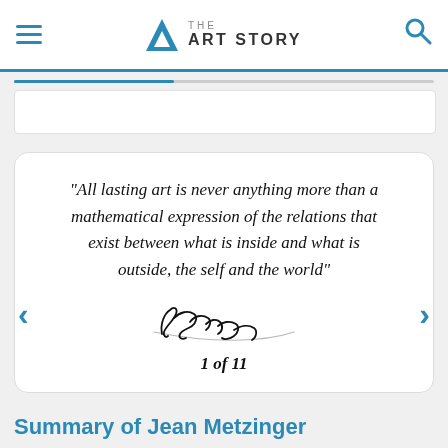THE ART STORY
"All lasting art is never anything more than a mathematical expression of the relations that exist between what is inside and what is outside, the self and the world"
[Figure (illustration): Handwritten signature of Metzinger]
1 of 11
Summary of Jean Metzinger